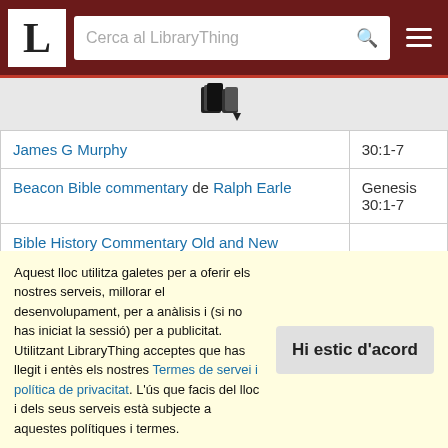L — LibraryThing — Cerca al LibraryThing
[Figure (other): Book/catalog icon with dropdown arrow]
| Book | Reference |
| --- | --- |
| James G Murphy | 30:1-7 |
| Beacon Bible commentary de Ralph Earle | Genesis 30:1-7 |
| Bible History Commentary Old and New Testaments, Complete Set de Werner Herman Franzmann |  |
| The Book of Genesis de Dr. Arnold G. Fruchtenbaum | Genesis 30:1-7 |
Aquest lloc utilitza galetes per a oferir els nostres serveis, millorar el desenvolupament, per a anàlisis i (si no has iniciat la sessió) per a publicitat. Utilitzant LibraryThing acceptes que has llegit i entès els nostres Termes de servei i política de privacitat. L'ús que facis del lloc i dels seus serveis està subjecte a aquestes polítiques i termes.